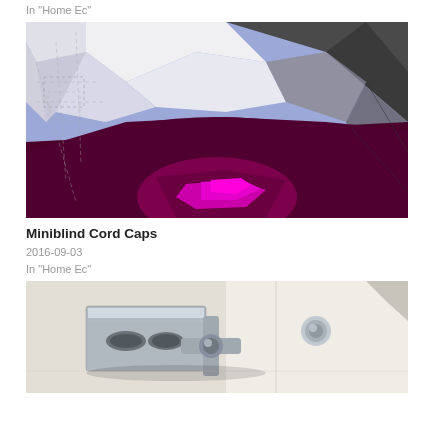In "Home Ec"
[Figure (illustration): 3D CAD rendering of a miniblind cord cap showing polygonal faceted geometry in purple/violet, white, and dark gray tones]
Miniblind Cord Caps
2016-09-03
In "Home Ec"
[Figure (photo): Close-up photograph of a metal miniblind bracket/hardware mounted on a surface, showing chrome/silver metallic parts]